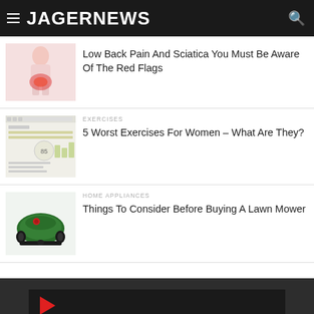JAGERNEWS
Low Back Pain And Sciatica You Must Be Aware Of The Red Flags
EXERCISES
5 Worst Exercises For Women – What Are They?
HOME APPLIANCES
Things To Consider Before Buying A Lawn Mower